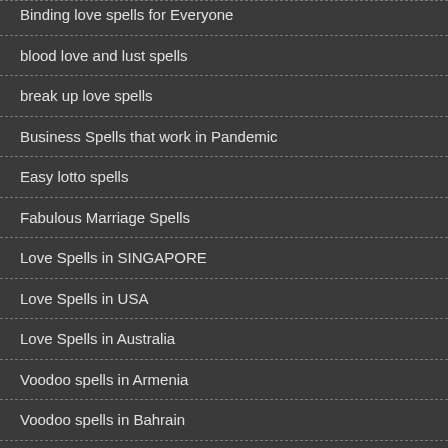Binding love spells for Everyone
blood love and lust spells
break up love spells
Business Spells that work in Pandemic
Easy lotto spells
Fabulous Marriage Spells
Love Spells in SINGAPORE
Love Spells in USA
Love Spells in Australia
Voodoo spells in Armenia
Voodoo spells in Bahrain
Voodoo spells in Belarus
Voodoo spells in Bosnia and Herzegovina
Voodoo spells in Colorado
Voodoo spells in Delaware